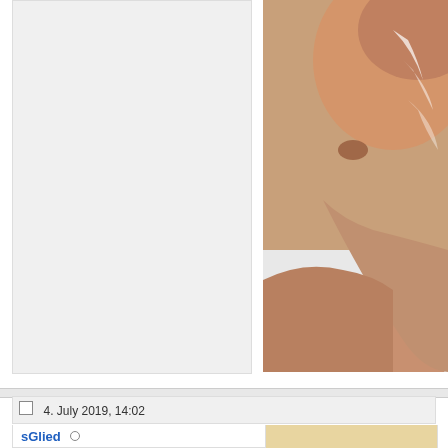[Figure (photo): Left panel: light gray background area, part of a forum post layout. Right panel: partial photo of a person's torso and upper body lying on white surface.]
4. July 2019, 14:02
sGlied